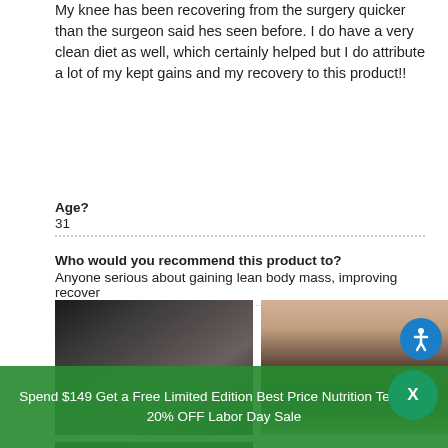My knee has been recovering from the surgery quicker than the surgeon said hes seen before. I do have a very clean diet as well, which certainly helped but I do attribute a lot of my kept gains and my recovery to this product!!
Age?
31
Who would you recommend this product to?
Anyone serious about gaining lean body mass, improving recover
[Figure (photo): Photo of a person holding a supplement product against their knee]
[Figure (photo): Photo of a person applying a supplement product to their knee]
[Figure (photo): Partial photo of a person with supplement product]
Spend $149 Get a Free Limited Edition Best Price Nutrition Tee Shirt
20% OFF Labor Day Sale